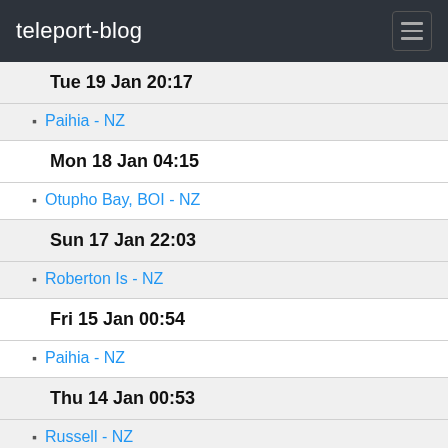teleport-blog
Tue 19 Jan 20:17
Paihia - NZ
Mon 18 Jan 04:15
Otupho Bay, BOI - NZ
Sun 17 Jan 22:03
Roberton Is - NZ
Fri 15 Jan 00:54
Paihia - NZ
Thu 14 Jan 00:53
Russell - NZ
Tue 12 Jan 03:02
Kaimarama Bay, BOI - NZ
Mon 11 Jan 02:34
Mimiwhangata Bay - NZ
Sat 9 Jan 05:17